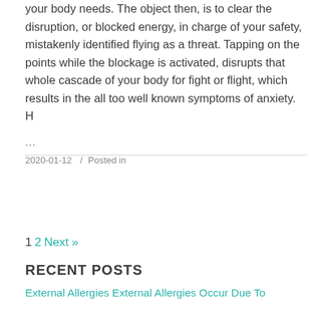your body needs. The object then, is to clear the disruption, or blocked energy, in charge of your safety, mistakenly identified flying as a threat. Tapping on the points while the blockage is activated, disrupts that whole cascade of your body for fight or flight, which results in the all too well known symptoms of anxiety. H
...
2020-01-12   /   Posted in
1 2 Next »
RECENT POSTS
External Allergies External Allergies Occur Due To